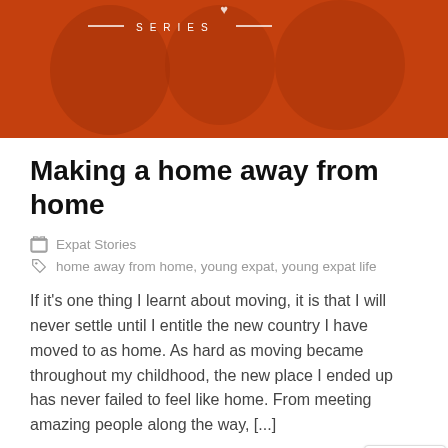[Figure (photo): Hero banner with orange/rust overlay, text reading SERIES with decorative lines, figures of people in background]
Making a home away from home
Expat Stories
home away from home, young expat, young expat life
If it's one thing I learnt about moving, it is that I will never settle until I entitle the new country I have moved to as home. As hard as moving became throughout my childhood, the new place I ended up has never failed to feel like home. From meeting amazing people along the way, [...]
Read More